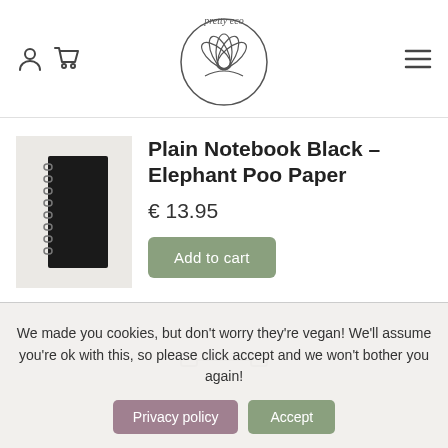Pretty Eco - header with logo, user icon, cart icon, and menu icon
[Figure (photo): Black spiral-bound notebook on light gray background]
Plain Notebook Black - Elephant Poo Paper
€ 13.95
Add to cart
We made you cookies, but don't worry they're vegan! We'll assume you're ok with this, so please click accept and we won't bother you again!
Privacy policy
Accept